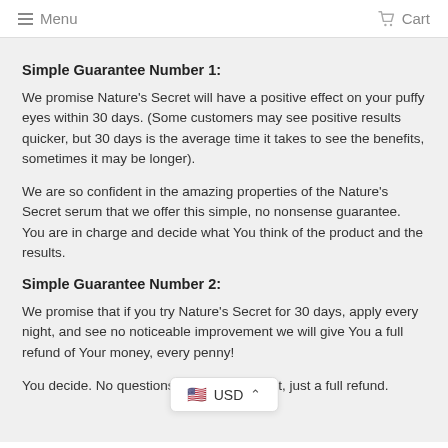Menu | Cart
Simple Guarantee Number 1:
We promise Nature's Secret will have a positive effect on your puffy eyes within 30 days. (Some customers may see positive results quicker, but 30 days is the average time it takes to see the benefits, sometimes it may be longer).
We are so confident in the amazing properties of the Nature's Secret serum that we offer this simple, no nonsense guarantee. You are in charge and decide what You think of the product and the results.
Simple Guarantee Number 2:
We promise that if you try Nature's Secret for 30 days, apply every night, and see no noticeable improvement we will give You a full refund of Your money, every penny!
You decide. No questions or forms to fill out, just a full refund.